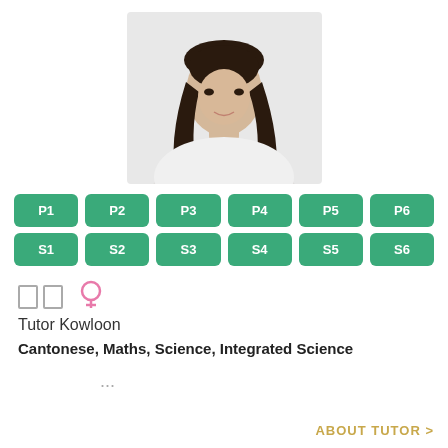[Figure (photo): Profile photo of a young woman with long dark hair wearing a white long-sleeve top, upper body portrait against white background]
| P1 | P2 | P3 | P4 | P5 | P6 |
| S1 | S2 | S3 | S4 | S5 | S6 |
□□ ♀
Tutor Kowloon
Cantonese, Maths, Science, Integrated Science
...
ABOUT TUTOR >